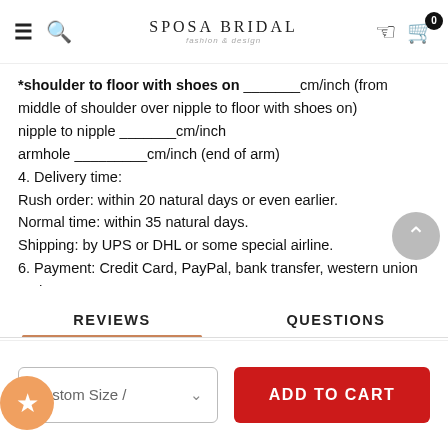SPOSA BRIDAL
*shoulder to floor with shoes on _______cm/inch (from middle of shoulder over nipple to floor with shoes on)
nipple to nipple _______cm/inch
armhole _________cm/inch (end of arm)
4. Delivery time:
Rush order: within 20 natural days or even earlier.
Normal time: within 35 natural days.
Shipping: by UPS or DHL or some special airline.
6. Payment: Credit Card, PayPal, bank transfer, western union and so on.
REVIEWS
QUESTIONS